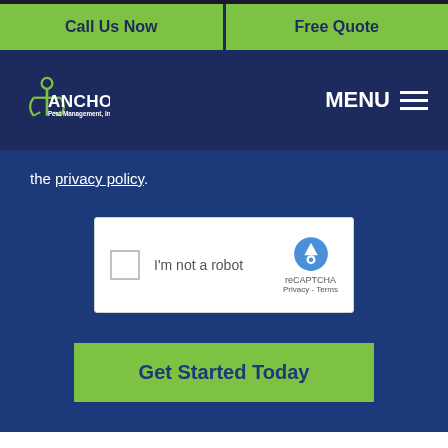[Figure (logo): Anchor Pest Management, Inc. logo with anchor icon in green and white]
Call Us Now
Free Quote
MENU
the privacy policy.
[Figure (screenshot): reCAPTCHA 'I'm not a robot' widget with checkbox and reCAPTCHA logo. Privacy - Terms links shown.]
Get Started Today
JUMP TO A SECTION: